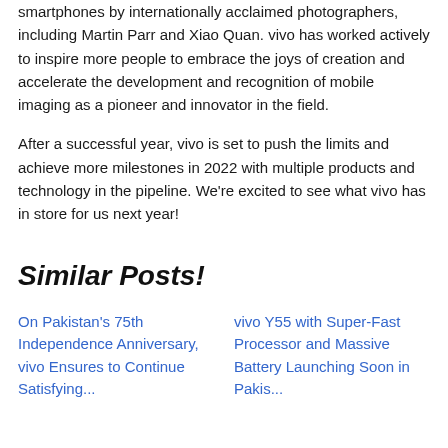smartphones by internationally acclaimed photographers, including Martin Parr and Xiao Quan. vivo has worked actively to inspire more people to embrace the joys of creation and accelerate the development and recognition of mobile imaging as a pioneer and innovator in the field.
After a successful year, vivo is set to push the limits and achieve more milestones in 2022 with multiple products and technology in the pipeline. We're excited to see what vivo has in store for us next year!
Similar Posts!
On Pakistan's 75th Independence Anniversary, vivo Ensures to Continue Satisfying...
vivo Y55 with Super-Fast Processor and Massive Battery Launching Soon in Pakis...